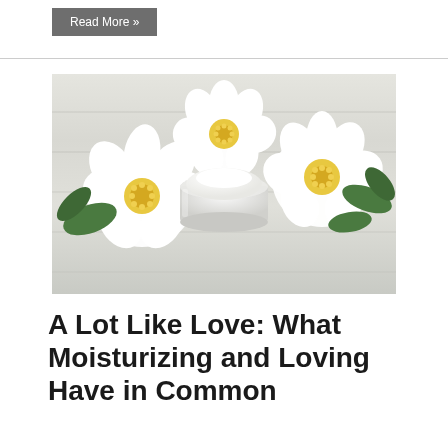Read More »
[Figure (photo): A glass jar of white face cream surrounded by white flowers with yellow centers and green leaves, placed on a white wooden surface]
A Lot Like Love: What Moisturizing and Loving Have in Common